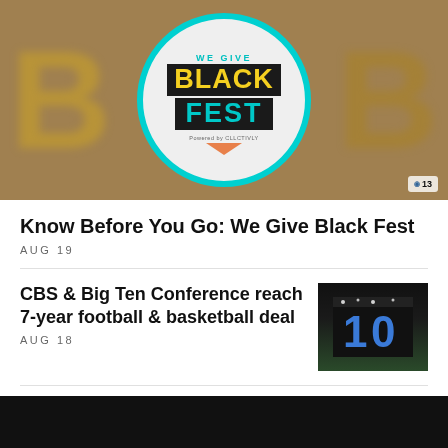[Figure (photo): We Give Black Fest logo inside a teal-bordered circle, on a blurred yellow/brown background with large B letters. Channel 13 logo in bottom right corner.]
Know Before You Go: We Give Black Fest
AUG 19
CBS & Big Ten Conference reach 7-year football & basketball deal
AUG 18
[Figure (photo): Big Ten '10' logo sculpture lit up at night on a green field.]
WJZ's Denise Koch voted Baltimore's best
[Figure (photo): Partial photo of a blonde woman, cropped.]